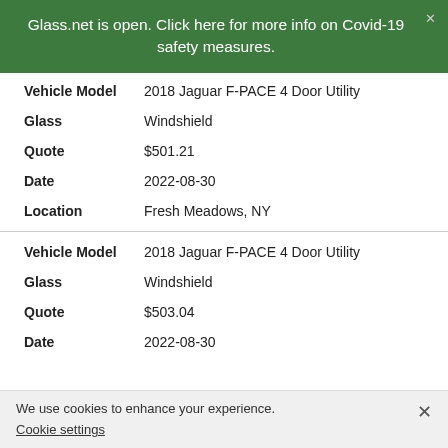Glass.net is open. Click here for more info on Covid-19 safety measures.
| Field | Value |
| --- | --- |
| Vehicle Model | 2018 Jaguar F-PACE 4 Door Utility |
| Glass | Windshield |
| Quote | $501.21 |
| Date | 2022-08-30 |
| Location | Fresh Meadows, NY |
| Field | Value |
| --- | --- |
| Vehicle Model | 2018 Jaguar F-PACE 4 Door Utility |
| Glass | Windshield |
| Quote | $503.04 |
| Date | 2022-08-30 |
We use cookies to enhance your experience.
Cookie settings